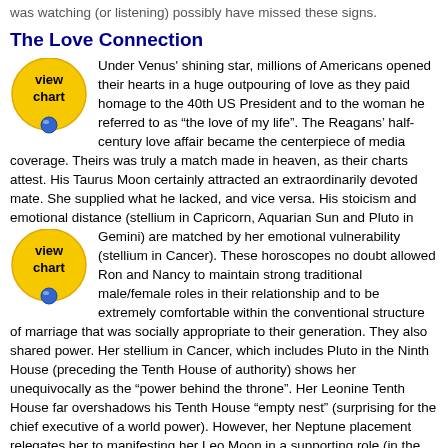was watching (or listening) possibly have missed these signs.
The Love Connection
[Figure (illustration): Yellow circular 'view chart' badge with blue dot at bottom]
Under Venus' shining star, millions of Americans opened their hearts in a huge outpouring of love as they paid homage to the 40th US President and to the woman he referred to as “the love of my life”. The Reagans’ half-century love affair became the centerpiece of media coverage. Theirs was truly a match made in heaven, as their charts attest. His Taurus Moon certainly attracted an extraordinarily devoted mate. She supplied what he lacked, and vice versa. His stoicism and emotional distance (stellium in Capricorn, Aquarian Sun and Pluto in Gemini) are matched by her emotional vulnerability (stellium in Cancer). These horoscopes no doubt allowed Ron and Nancy to maintain strong traditional male/female roles in their relationship and to be extremely comfortable within the conventional structure of marriage that was socially appropriate to their generation. They also shared power. Her stellium in Cancer, which includes Pluto in the Ninth House (preceding the Tenth House of authority) shows her unequivocally as the “power behind the throne”. Her Leonine Tenth House far overshadows his Tenth House “empty nest” (surprising for the chief executive of a world power). However, her Neptune placement relegates her to manifesting her Leo Moon in a supporting role (in the movies and in real life)—“First Lady” instead of “Queen,” a sacrifice she “settled for” in this lifetime. She had to content herself with being worshipped by her husband and exerting considerable influence behind the scenes. Let us not forget that Nancy brought an astrologer into the White House—a move that could have meant political suicide to a less popular leader.
[Figure (illustration): Yellow circular 'view chart' badge with blue dot at bottom]